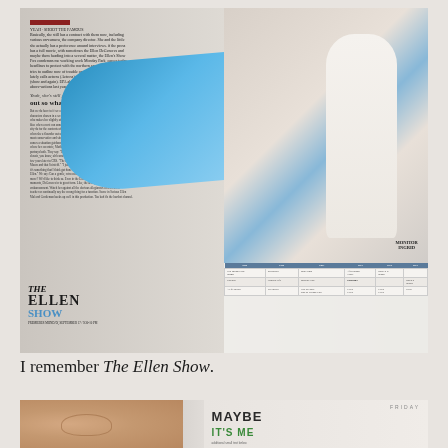[Figure (photo): Photograph of an open magazine spread showing The Ellen Show advertisement. Left page has article text with section headers 'Yeah, she's still gay.' and 'out so what?', body text columns, and The Ellen Show logo at bottom left. Right page shows a person in white clothing with a blue fabric drape and a TV schedule grid table at bottom.]
I remember The Ellen Show.
[Figure (photo): Partial photograph showing a close-up of a person's ear on the left, and on the right a card or advertisement reading 'FRIDAY / MAYBE IT'S ME' with additional small text below.]